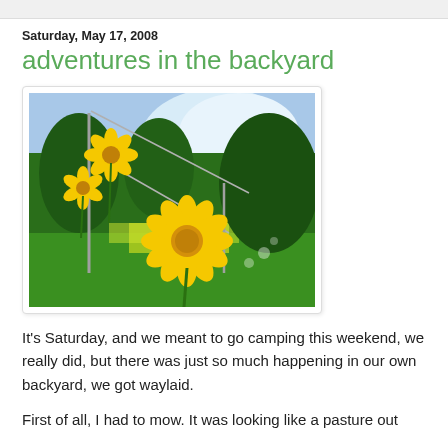Saturday, May 17, 2008
adventures in the backyard
[Figure (photo): Photograph of yellow daisy-like flowers (coreopsis/tickseed) in a backyard garden, with a clothesline or fence structure visible in the background, green grass and trees behind.]
It's Saturday, and we meant to go camping this weekend, we really did, but there was just so much happening in our own backyard, we got waylaid.
First of all, I had to mow. It was looking like a pasture out